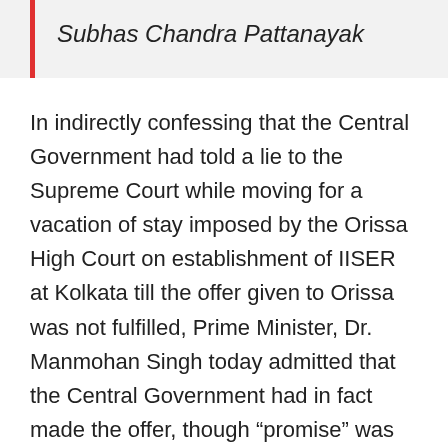Subhas Chandra Pattanayak
In indirectly confessing that the Central Government had told a lie to the Supreme Court while moving for a vacation of stay imposed by the Orissa High Court on establishment of IISER at Kolkata till the offer given to Orissa was not fulfilled, Prime Minister, Dr. Manmohan Singh today admitted that the Central Government had in fact made the offer, though “promise” was the word used to convey the meaning. He announced the setting up of National Institute of Science Education and